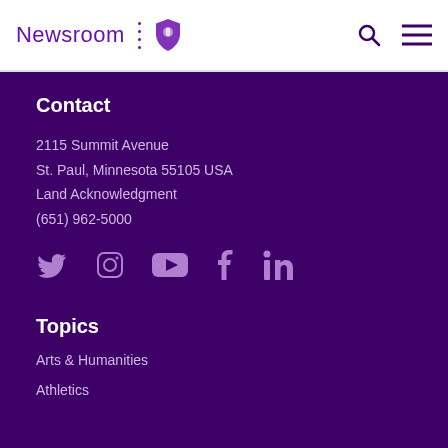Newsroom
Contact
2115 Summit Avenue
St. Paul, Minnesota 55105 USA
Land Acknowledgment
(651) 962-5000
[Figure (infographic): Row of social media icons: Twitter, Instagram, YouTube, Facebook, LinkedIn]
Topics
Arts & Humanities
Athletics